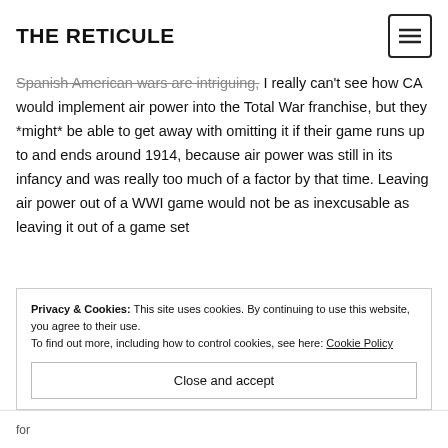THE RETICULE
Spanish American wars are intriguing, I really can't see how CA would implement air power into the Total War franchise, but they *might* be able to get away with omitting it if their game runs up to and ends around 1914, because air power was still in its infancy and was really too much of a factor by that time. Leaving air power out of a WWI game would not be as inexcusable as leaving it out of a game set
Privacy & Cookies: This site uses cookies. By continuing to use this website, you agree to their use.
To find out more, including how to control cookies, see here: Cookie Policy
Close and accept
for